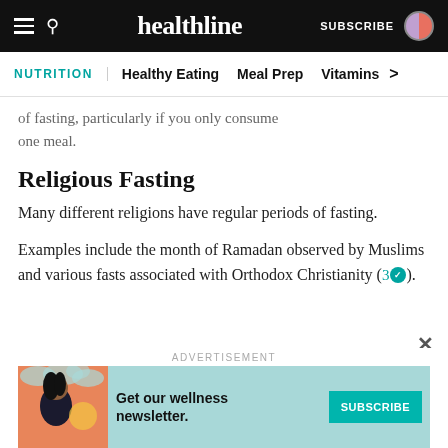healthline — SUBSCRIBE
NUTRITION | Healthy Eating  Meal Prep  Vitamins >
of fasting, particularly if you only consume one meal.
Religious Fasting
Many different religions have regular periods of fasting.
Examples include the month of Ramadan observed by Muslims and various fasts associated with Orthodox Christianity (3 ✓).
[Figure (infographic): Advertisement banner: teal/coral illustrated banner with a woman illustration, text 'Get our wellness newsletter.' and a teal SUBSCRIBE button]